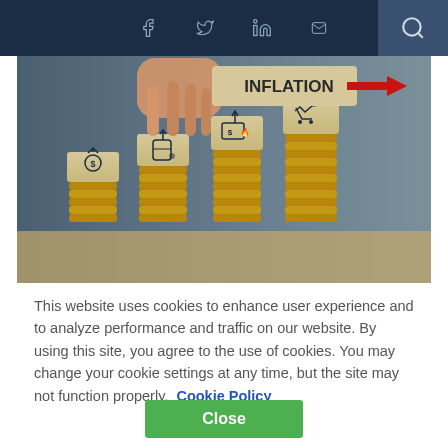Social media and search navigation bar
[Figure (photo): A hand placing a wooden block with 'INFLATION' text and a red arrow on top of four stacks of coins of increasing height, each stack topped with a wooden block bearing economic icons (dollar sign with up arrow, oil barrel, dollar bill with flame, shopping cart with trend line).]
This website uses cookies to enhance user experience and to analyze performance and traffic on our website. By using this site, you agree to the use of cookies. You may change your cookie settings at any time, but the site may not function properly.  Cookie Policy
Close